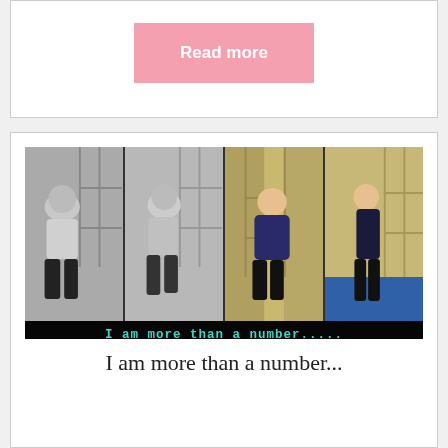[Figure (other): Pink 'Read more' button on white card background]
[Figure (photo): Four-panel photo strip of a woman at different stages of fitness journey in a locker room, with banner text 'I am more than a number.....']
I am more than a number...
Posted on May 10, 2017 by Nanci
In today's world, every one is focused on weight, that